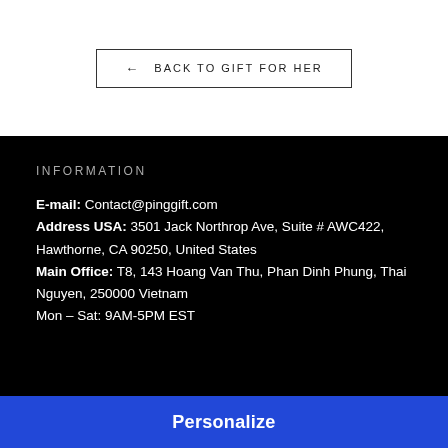← BACK TO GIFT FOR HER
INFORMATION
E-mail: Contact@pinggift.com
Address USA: 3501 Jack Northrop Ave, Suite # AWC422, Hawthorne, CA 90250, United States
Main Office: T8, 143 Hoang Van Thu, Phan Dinh Phung, Thai Nguyen, 250000 Vietnam
Mon – Sat: 9AM-5PM EST
Personalize